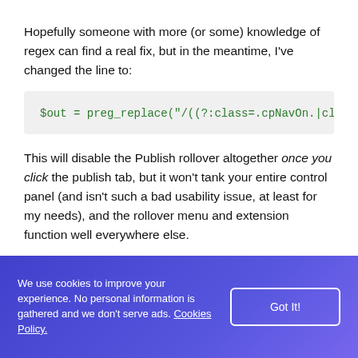Hopefully someone with more (or some) knowledge of regex can find a real fix, but in the meantime, I've changed the line to:
$out = preg_replace("/((?:class=.cpNavOn.|cla
This will disable the Publish rollover altogether once you click the publish tab, but it won’t tank your entire control panel (and isn’t such a bad usability issue, at least for my needs), and the rollover menu and extension function well everywhere else.
We use cookies to improve your experience. No personal information is gathered and we don't serve ads. Cookies Policy.